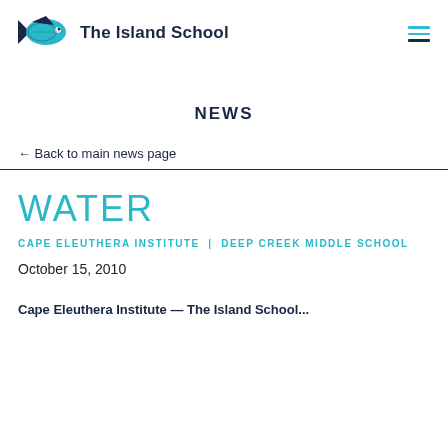The Island School
NEWS
← Back to main news page
WATER
CAPE ELEUTHERA INSTITUTE | DEEP CREEK MIDDLE SCHOOL
October 15, 2010
Cape Eleuthera Institute | The Island School...